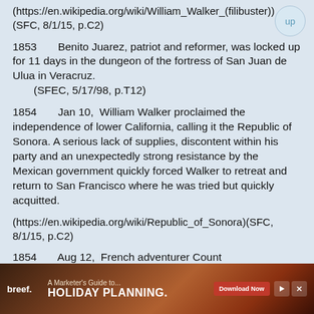(https://en.wikipedia.org/wiki/William_Walker_(filibuster))(SFC, 8/1/15, p.C2)
1853   Benito Juarez, patriot and reformer, was locked up for 11 days in the dungeon of the fortress of San Juan de Ulua in Veracruz.
   (SFEC, 5/17/98, p.T12)
1854   Jan 10,  William Walker proclaimed the independence of lower California, calling it the Republic of Sonora. A serious lack of supplies, discontent within his party and an unexpectedly strong resistance by the Mexican government quickly forced Walker to retreat and return to San Francisco where he was tried but quickly acquitted.
(https://en.wikipedia.org/wiki/Republic_of_Sonora)(SFC, 8/1/15, p.C2)
1854   Aug 12,  French adventurer Count
[Figure (other): Advertisement banner at bottom of page: 'A Marketer's Guide to... HOLIDAY PLANNING.' by breef. with a Download Now button, play and close controls, on a dark brown/red speckled background.]